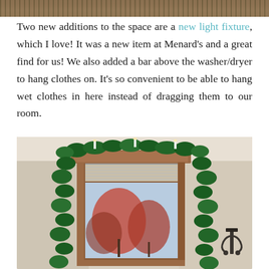[Figure (photo): Top partial photo showing what appears to be a laundry room or interior space, cropped at top of page]
Two new additions to the space are a new light fixture, which I love! It was a new item at Menard's and a great find for us! We also added a bar above the washer/dryer to hang clothes on. It's so convenient to be able to hang wet clothes in here instead of dragging them to our room.
[Figure (photo): Interior room photo showing a wood-framed window decorated with green garland/greenery on both sides and across the top, with blinds visible in the window showing trees outside, and a decorative hook/bracket on the right wall. Walls are light beige/cream.]